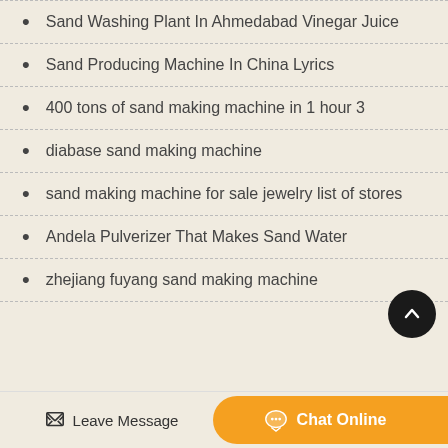Sand Washing Plant In Ahmedabad Vinegar Juice
Sand Producing Machine In China Lyrics
400 tons of sand making machine in 1 hour 3
diabase sand making machine
sand making machine for sale jewelry list of stores
Andela Pulverizer That Makes Sand Water
zhejiang fuyang sand making machine
Leave Message  Chat Online